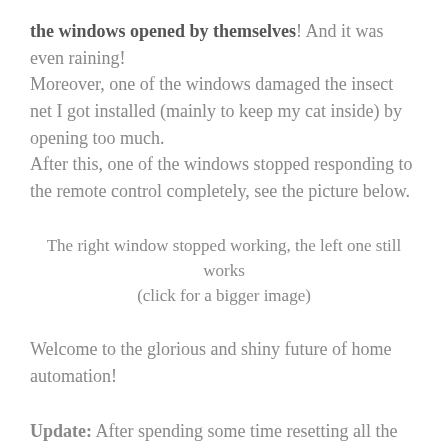the windows opened by themselves! And it was even raining! Moreover, one of the windows damaged the insect net I got installed (mainly to keep my cat inside) by opening too much. After this, one of the windows stopped responding to the remote control completely, see the picture below.
The right window stopped working, the left one still works
(click for a bigger image)
Welcome to the glorious and shiny future of home automation!
Update: After spending some time resetting all the windows and controllers, I found out that probably the